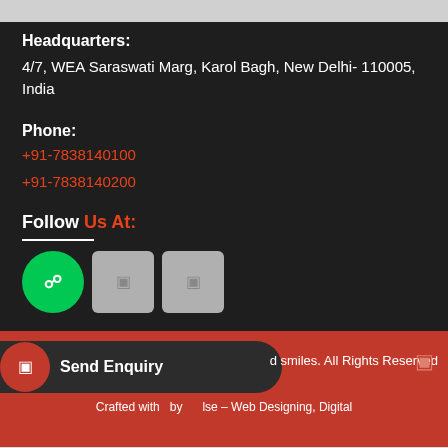Headquarters:
4/7, WEA Saraswati Marg, Karol Bagh, New Delhi- 110005, India
Phone:
+91-7838140100
+91-7838140200
Follow Us At:
[Figure (infographic): Three social media icon buttons: a green circle with WhatsApp icon, a gray square with an icon, and another gray square with an icon]
Send Enquiry
d smiles. All Rights Reserved
Crafted with   by   lse – Web Designing, Digital
Home  About Us  Our Range  Contact  Call Us